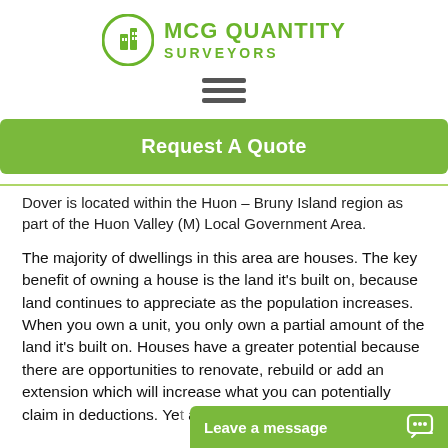[Figure (logo): MCG Quantity Surveyors logo with green circular building icon and green bold text]
[Figure (other): Hamburger menu icon with three horizontal grey lines]
[Figure (other): Green 'Request A Quote' button]
Dover is located within the Huon – Bruny Island region as part of the Huon Valley (M) Local Government Area.
The majority of dwellings in this area are houses. The key benefit of owning a house is the land it's built on, because land continues to appreciate as the population increases. When you own a unit, you only own a partial amount of the land it's built on. Houses have a greater potential because there are opportunities to renovate, rebuild or add an extension which will increase what you can potentially claim in deductions. Ye... are unable to add an ex...
[Figure (other): Green chat widget bar at bottom right with 'Leave a message' text and chat icon]